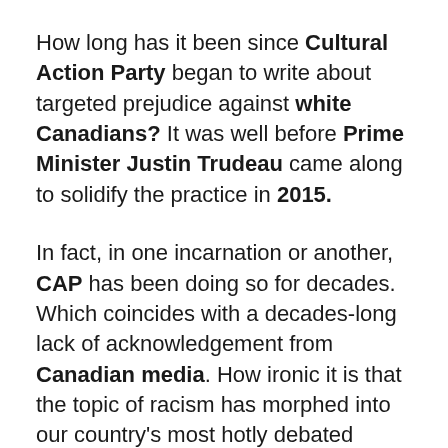How long has it been since Cultural Action Party began to write about targeted prejudice against white Canadians? It was well before Prime Minister Justin Trudeau came along to solidify the practice in 2015.
In fact, in one incarnation or another, CAP has been doing so for decades. Which coincides with a decades-long lack of acknowledgement from Canadian media. How ironic it is that the topic of racism has morphed into our country's most hotly debated issue, while stone-cold silence exists regarding animus toward our Anglophone communities.
It took a media maverick like Rex Murphy